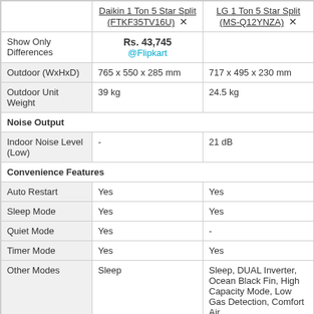|  | Daikin 1 Ton 5 Star Split (FTKF35TV16U) | LG 1 Ton 5 Star Split (MS-Q12YNZA) |
| --- | --- | --- |
| Show Only Differences | Rs. 43,745 @Flipkart |  |
| Outdoor (WxHxD) | 765 x 550 x 285 mm | 717 x 495 x 230 mm |
| Outdoor Unit Weight | 39 kg | 24.5 kg |
| Noise Output |  |  |
| Indoor Noise Level (Low) | - | 21 dB |
| Convenience Features |  |  |
| Auto Restart | Yes | Yes |
| Sleep Mode | Yes | Yes |
| Quiet Mode | Yes | - |
| Timer Mode | Yes | Yes |
| Other Modes | Sleep | Sleep, DUAL Inverter, Ocean Black Fin, High Capacity Mode, Low Gas Detection, Comfort Air, |